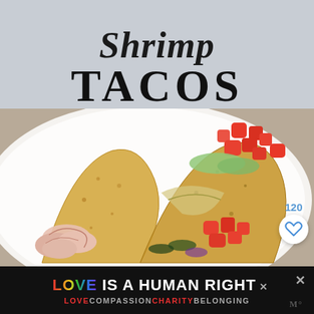Shrimp Tacos
[Figure (photo): Shrimp tacos on a white plate with tomatoes, avocado sauce, and vegetables in corn taco shells]
120
[Figure (illustration): Heart/like button icon]
LOVE IS A HUMAN RIGHT
LOVE COMPASSION CHARITY BELONGING